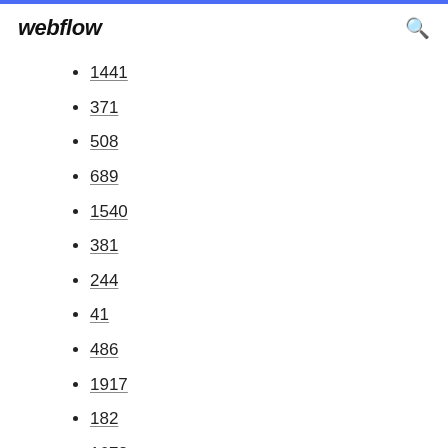webflow
1441
371
508
689
1540
381
244
41
486
1917
182
1672